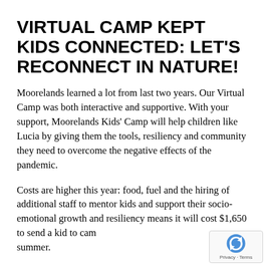VIRTUAL CAMP KEPT KIDS CONNECTED: LET'S RECONNECT IN NATURE!
Moorelands learned a lot from last two years. Our Virtual Camp was both interactive and supportive. With your support, Moorelands Kids' Camp will help children like Lucia by giving them the tools, resiliency and community they need to overcome the negative effects of the pandemic.
Costs are higher this year: food, fuel and the hiring of additional staff to mentor kids and support their socio-emotional growth and resiliency means it will cost $1,650 to send a kid to camp this summer.